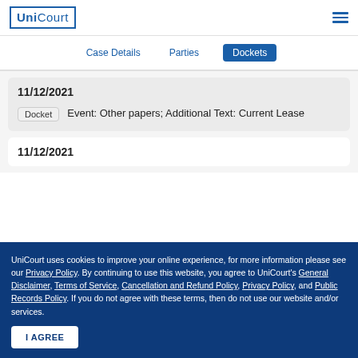UniCourt
Case Details | Parties | Dockets
11/12/2021
Docket  Event: Other papers; Additional Text: Current Lease
11/12/2021
UniCourt uses cookies to improve your online experience, for more information please see our Privacy Policy. By continuing to use this website, you agree to UniCourt's General Disclaimer, Terms of Service, Cancellation and Refund Policy, Privacy Policy, and Public Records Policy. If you do not agree with these terms, then do not use our website and/or services.
I AGREE